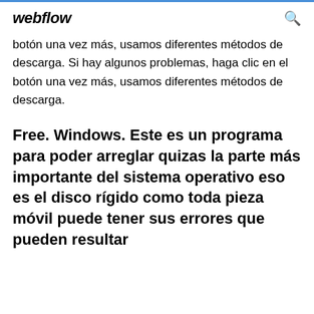webflow
botón una vez más, usamos diferentes métodos de descarga. Si hay algunos problemas, haga clic en el botón una vez más, usamos diferentes métodos de descarga.
Free. Windows. Este es un programa para poder arreglar quizas la parte más importante del sistema operativo eso es el disco rígido como toda pieza móvil puede tener sus errores que pueden resultar